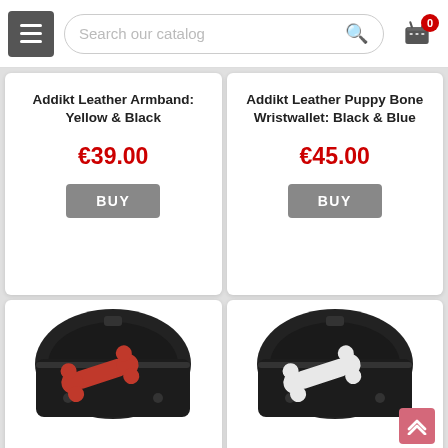[Figure (screenshot): E-commerce website navigation bar with hamburger menu, search field reading 'Search our catalog', and shopping cart icon with badge showing 0]
Addikt Leather Armband: Yellow & Black
€39.00
BUY
Addikt Leather Puppy Bone Wristwallet: Black & Blue
€45.00
BUY
[Figure (photo): Black leather wide cuff/wristband with a red bone shape applique on it]
Addikt Leather Puppy Bone
[Figure (photo): Black leather wide cuff/wristband with a white bone shape applique on it]
Addikt Leather Puppy Bone